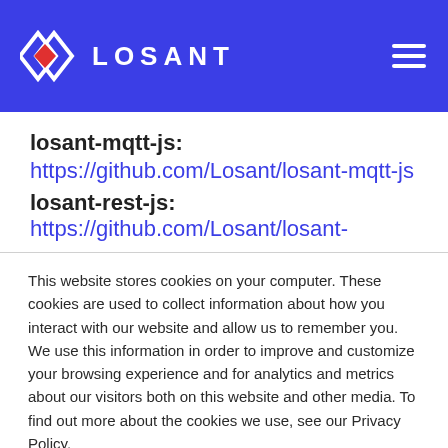LOSANT
losant-mqtt-js: https://github.com/Losant/losant-mqtt-js
losant-rest-js: https://github.com/Losant/losant-
This website stores cookies on your computer. These cookies are used to collect information about how you interact with our website and allow us to remember you. We use this information in order to improve and customize your browsing experience and for analytics and metrics about our visitors both on this website and other media. To find out more about the cookies we use, see our Privacy Policy.
If you decline, your information won't be tracked when you visit this website. A single cookie will be used in your browser to remember your preference not to be tracked.